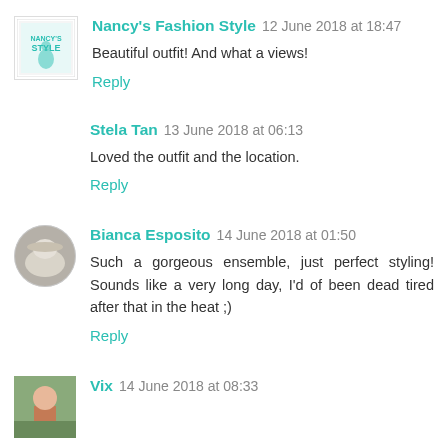Nancy's Fashion Style 12 June 2018 at 18:47
Beautiful outfit! And what a views!
Reply
Stela Tan 13 June 2018 at 06:13
Loved the outfit and the location.
Reply
Bianca Esposito 14 June 2018 at 01:50
Such a gorgeous ensemble, just perfect styling! Sounds like a very long day, I'd of been dead tired after that in the heat ;)
Reply
Vix 14 June 2018 at 08:33